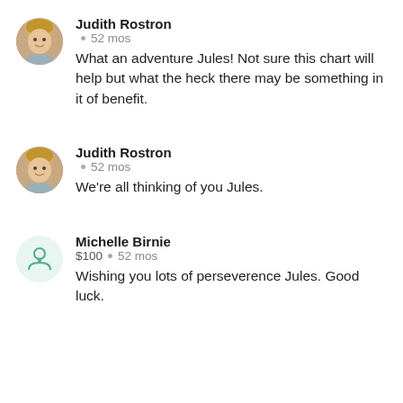Judith Rostron
52 mos
What an adventure Jules! Not sure this chart will help but what the heck there may be something in it of benefit.
Judith Rostron
52 mos
We're all thinking of you Jules.
Michelle Birnie
$100 • 52 mos
Wishing you lots of perseverence Jules. Good luck.